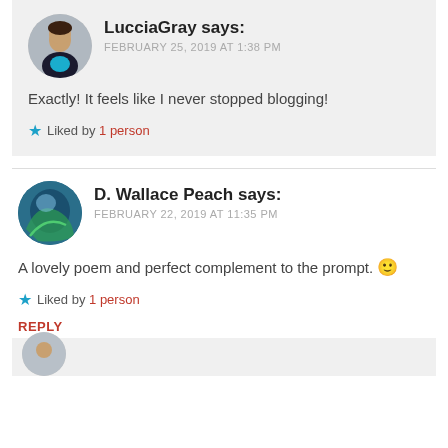LucciaGray says:
FEBRUARY 25, 2019 AT 1:38 PM
Exactly! It feels like I never stopped blogging!
Liked by 1 person
D. Wallace Peach says:
FEBRUARY 22, 2019 AT 11:35 PM
A lovely poem and perfect complement to the prompt. 🙂
Liked by 1 person
REPLY